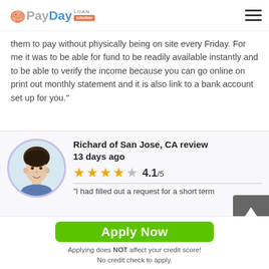PayDay Loan Solution
them to pay without physically being on site every Friday. For me it was to be able for fund to be readily available instantly and to be able to verify the income because you can go online on print out monthly statement and it is also link to a bank account set up for you."
Richard of San Jose, CA review 13 days ago — 4.1/5 — "I had filled out a request for a short term loan and about 20 minutes one of your customer service
[Figure (photo): Circular avatar photo of a young man, reviewer Richard from San Jose CA]
Apply Now
Applying does NOT affect your credit score!
No credit check to apply.